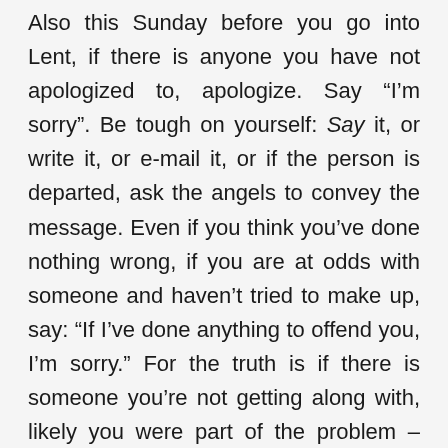Also this Sunday before you go into Lent, if there is anyone you have not apologized to, apologize. Say “I’m sorry”. Be tough on yourself: Say it, or write it, or e-mail it, or if the person is departed, ask the angels to convey the message. Even if you think you’ve done nothing wrong, if you are at odds with someone and haven’t tried to make up, say: “If I’ve done anything to offend you, I’m sorry.” For the truth is if there is someone you’re not getting along with, likely you were part of the problem – even if you didn’t intend it, even if you don’t know what it was, even if you’re too proud to consider the possibility. My experience after 53 years as a pastor is that most hurts are unintentional. It’s just that people are preoccupied with their own problems or overcome by them, and we just get in the way at the wrong time. Or people mis-